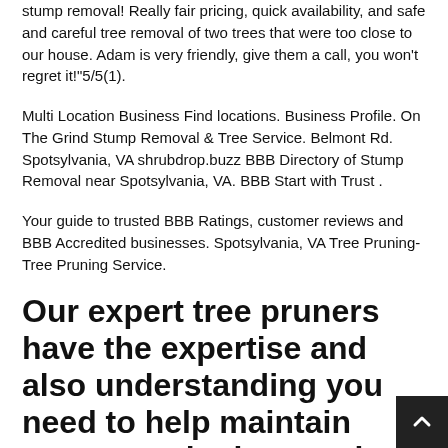stump removal! Really fair pricing, quick availability, and safe and careful tree removal of two trees that were too close to our house. Adam is very friendly, give them a call, you won't regret it!"5/5(1).
Multi Location Business Find locations. Business Profile. On The Grind Stump Removal & Tree Service. Belmont Rd. Spotsylvania, VA shrubdrop.buzz BBB Directory of Stump Removal near Spotsylvania, VA. BBB Start with Trust .
Your guide to trusted BBB Ratings, customer reviews and BBB Accredited businesses. Spotsylvania, VA Tree Pruning- Tree Pruning Service.
Our expert tree pruners have the expertise and also understanding you need to help maintain your trees in the very best condition achievable.
Tree services including emergency service for Tree Removal, Trimming, Stump Grinding and more. Call us today ator requ…